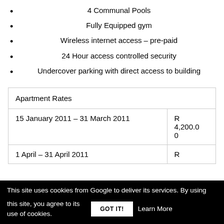4 Communal Pools
Fully Equipped gym
Wireless internet access – pre-paid
24 Hour access controlled security
Undercover parking with direct access to building
| Apartment Rates |  |
| --- | --- |
| 15 January 2011 – 31 March 2011 | R 4,200.00 |
| 1 April – 31 April 2011 | R |
This site uses cookies from Google to deliver its services. By using this site, you agree to its use of cookies.